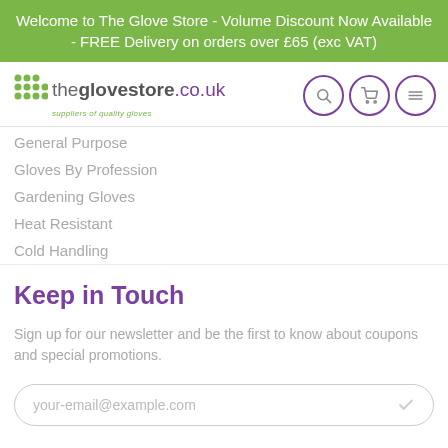Welcome to The Glove Store - Volume Discount Now Available - FREE Delivery on orders over £65 (exc VAT)
[Figure (logo): theglovestore.co.uk logo with green dot grid icon and tagline 'suppliers of quality gloves']
General Purpose
Gloves By Profession
Gardening Gloves
Heat Resistant
Cold Handling
Keep in Touch
Sign up for our newsletter and be the first to know about coupons and special promotions.
your-email@example.com